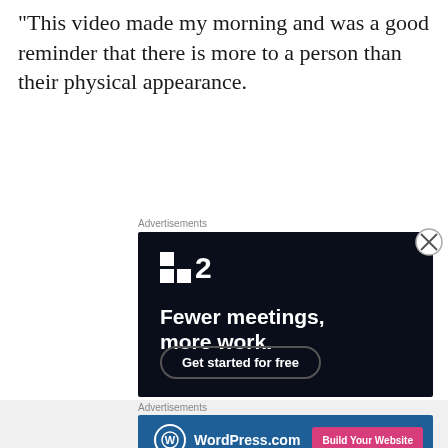“This video made my morning and was a good reminder that there is more to a person than their physical appearance.
Advertisements
[Figure (screenshot): Dark-themed advertisement for a project management app showing a logo with two squares and the number 2, headline 'Fewer meetings, more work.' and a 'Get started for free' button]
Advertisements
[Figure (screenshot): WordPress.com advertisement banner with blue background showing WordPress logo and 'Build Your Website' pink button]